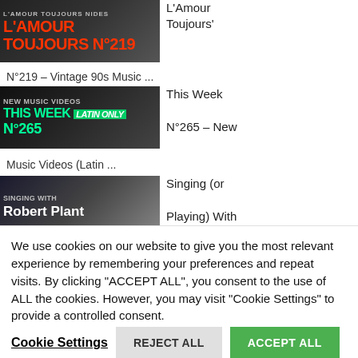[Figure (screenshot): Thumbnail image for L'Amour Toujours N°219 music video playlist, red bold text on dark background]
L'Amour Toujours' N°219 – Vintage 90s Music ...
[Figure (screenshot): Thumbnail image for New Music Videos This Week (latin only) N°265, cyan bold text on dark background]
This Week N°265 – New Music Videos (Latin ...
[Figure (screenshot): Thumbnail image for Singing (or Playing) With Robert Plant, white bold text on dark background]
Singing (or Playing) With
We use cookies on our website to give you the most relevant experience by remembering your preferences and repeat visits. By clicking "ACCEPT ALL", you consent to the use of ALL the cookies. However, you may visit "Cookie Settings" to provide a controlled consent.
Cookie Settings   REJECT ALL   ACCEPT ALL